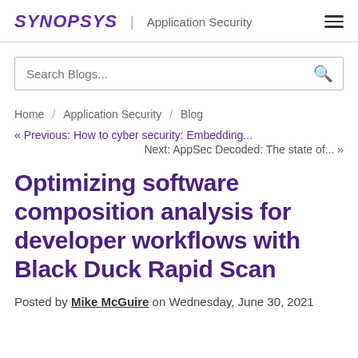SYNOPSYS | Application Security
Search Blogs...
Home / Application Security / Blog
« Previous: How to cyber security: Embedding...
Next: AppSec Decoded: The state of... »
Optimizing software composition analysis for developer workflows with Black Duck Rapid Scan
Posted by Mike McGuire on Wednesday, June 30, 2021